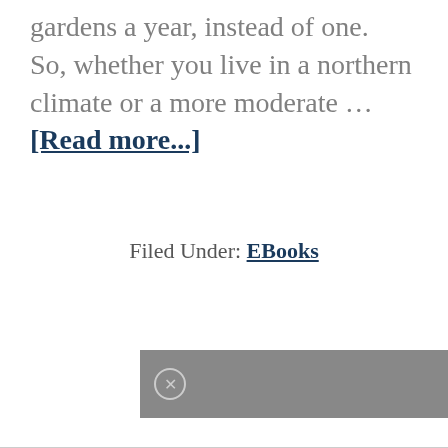gardens a year, instead of one.  So, whether you live in a northern climate or a more moderate … [Read more...]
Filed Under: EBooks
[Figure (other): Gray advertisement bar with a circular close button (×) on the left side]